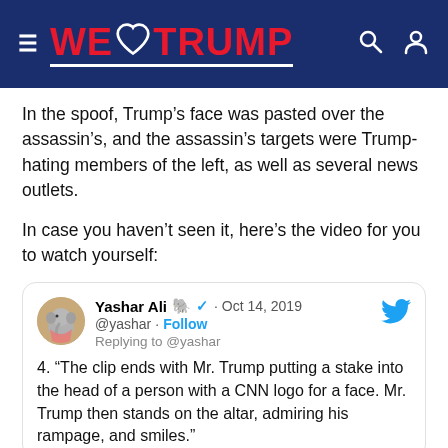[Figure (logo): We Love Trump website header with dark blue background, hamburger menu icon on left, red 'WE [heart] TRUMP' logo with white underline, and search/user icons on right]
In the spoof, Trump’s face was pasted over the assassin’s, and the assassin’s targets were Trump-hating members of the left, as well as several news outlets.
In case you haven’t seen it, here’s the video for you to watch yourself:
[Figure (screenshot): Embedded tweet from Yashar Ali (@yashar) dated Oct 14, 2019 with elephant emoji and verified checkmark. Avatar shows a baby elephant. Tweet reads: '4. "The clip ends with Mr. Trump putting a stake into the head of a person with a CNN logo for a face. Mr. Trump then stands on the altar, admiring his rampage, and smiles."' Twitter bird icon top right. 'Replying to @yashar' shown below handle.]